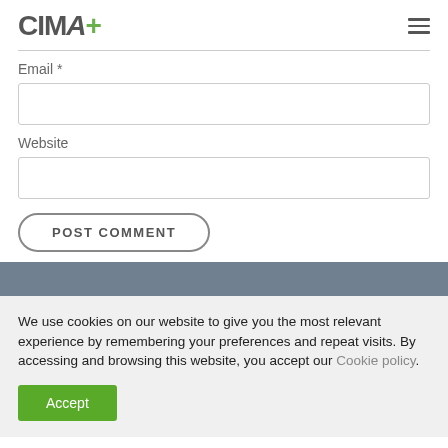CIMA+
Email *
Website
POST COMMENT
We use cookies on our website to give you the most relevant experience by remembering your preferences and repeat visits. By accessing and browsing this website, you accept our Cookie policy.
Accept